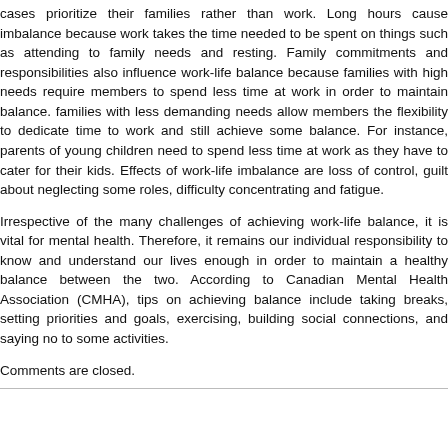cases prioritize their families rather than work. Long hours cause imbalance because work takes the time needed to be spent on things such as attending to family needs and resting. Family commitments and responsibilities also influence work-life balance because families with high needs require members to spend less time at work in order to maintain balance. However, families with less demanding needs allow members the flexibility to dedicate time to work and still achieve some balance. For instance, parents of young children need to spend less time at work as they have to cater for their kids. Effects of work-life imbalance are loss of control, guilt about neglecting some roles, difficulty concentrating and fatigue.
Irrespective of the many challenges of achieving work-life balance, it is vital for mental health. Therefore, it remains our individual responsibility to know and understand our lives enough in order to maintain a healthy balance between the two. According to Canadian Mental Health Association (CMHA), tips on achieving balance include taking breaks, setting priorities and goals, exercising, building social connections, and saying no to some activities.
Comments are closed.